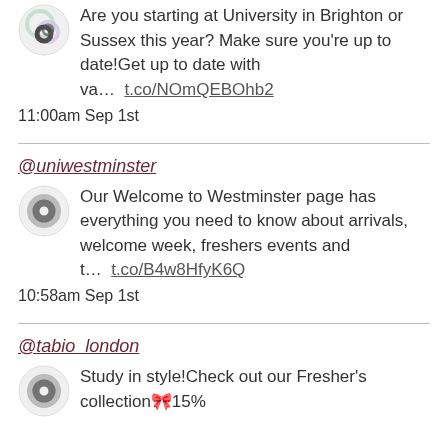Are you starting at University in Brighton or Sussex this year? Make sure you're up to date!Get up to date with va… t.co/NOmQEBOhb2
11:00am Sep 1st
@uniwestminster
Our Welcome to Westminster page has everything you need to know about arrivals, welcome week, freshers events and t… t.co/B4w8HfyK6Q
10:58am Sep 1st
@tabio_london
Study in style!Check out our Fresher's collection🎀15%